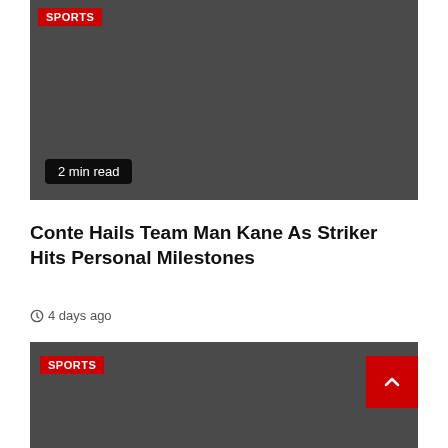[Figure (photo): Dark grey image placeholder for sports article thumbnail with SPORTS badge and 2 min read overlay]
Conte Hails Team Man Kane As Striker Hits Personal Milestones
4 days ago
[Figure (photo): Dark grey image placeholder for second sports article thumbnail with SPORTS badge and back-to-top button]